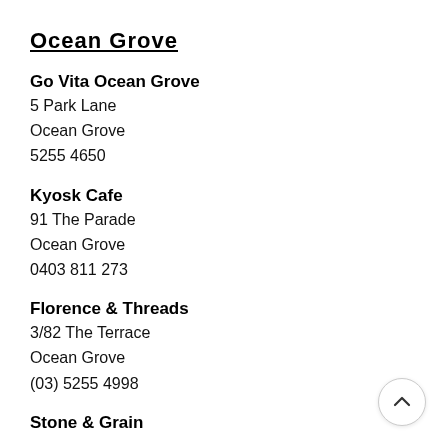Ocean Grove
Go Vita Ocean Grove
5 Park Lane
Ocean Grove
5255 4650
Kyosk Cafe
91 The Parade
Ocean Grove
0403 811 273
Florence & Threads
3/82 The Terrace
Ocean Grove
(03) 5255 4998
Stone & Grain